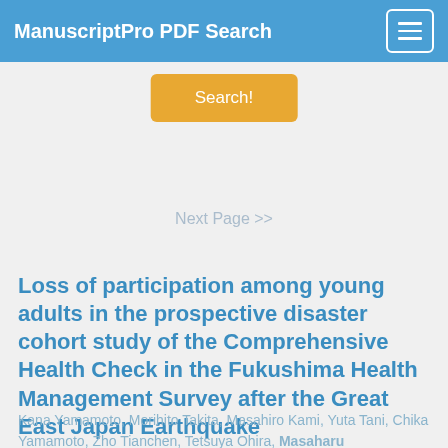ManuscriptPro PDF Search
Search!
Next Page >>
Loss of participation among young adults in the prospective disaster cohort study of the Comprehensive Health Check in the Fukushima Health Management Survey after the Great East Japan Earthquake
Kana Yamamoto, Morihito Takita, Masahiro Kami, Yuta Tani, Chika Yamamoto, Zho Tianchen, Tetsuya Ohira, Masaharu